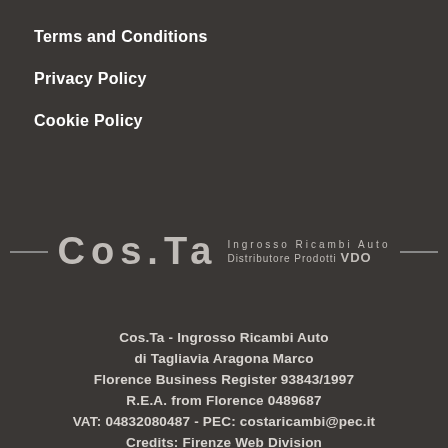Terms and Conditions
Privacy Policy
Cookie Policy
[Figure (logo): Cos.Ta - Ingrosso Ricambi Auto, Distributore Prodotti VDO logo with decorative horizontal lines on either side]
Cos.Ta - Ingrosso Ricambi Auto
di Tagliavia Aragona Marco
Florence Business Register 93843/1997
R.E.A. from Florence 0489687
VAT: 04832080487 - PEC: costaricambi@pec.it
Credits: Firenze Web Division